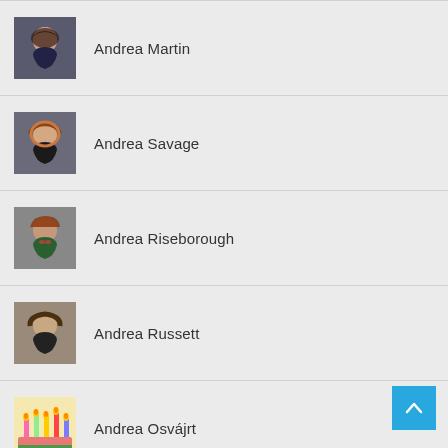Andrea Martin
Andrea Savage
Andrea Riseborough
Andrea Russett
Andrea Osvájrt